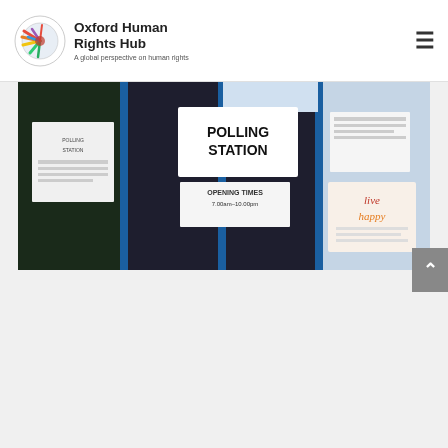Oxford Human Rights Hub — A global perspective on human rights
[Figure (photo): Photograph of a polling station entrance with blue doors and signs reading 'POLLING STATION', 'OPENING TIMES 7.00am–10.00pm', and other notices]
The Future Could Be Accessible, But Only If All Disability Shortlists Are Made Legal
United Kingdom
Disability
Tuesday 3 December marked the International Day of Persons with Disabilities (IDPWD), but with only one week to ...